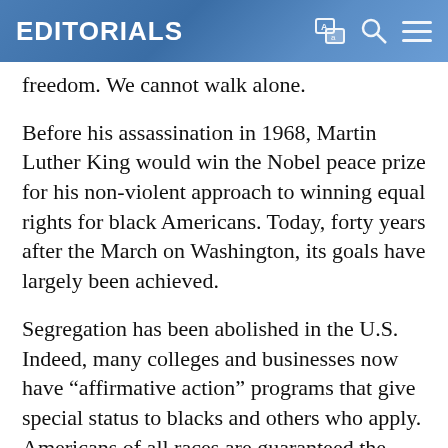EDITORIALS
freedom. We cannot walk alone.
Before his assassination in 1968, Martin Luther King would win the Nobel peace prize for his non-violent approach to winning equal rights for black Americans. Today, forty years after the March on Washington, its goals have largely been achieved.
Segregation has been abolished in the U.S. Indeed, many colleges and businesses now have “affirmative action” programs that give special status to blacks and others who apply. Americans of all races are guaranteed the opportunity to vote. The number of elected black officials has increased dramatically. Today, African Americans hold important appointed positions -- including U.S. Secretary of State Colin